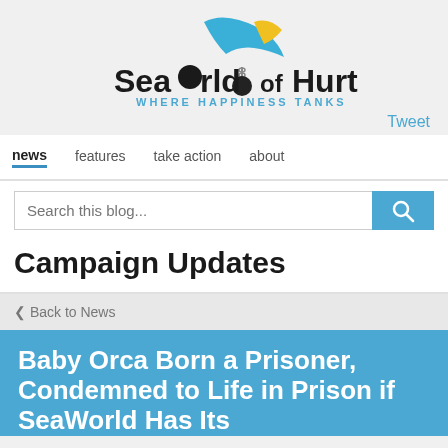[Figure (logo): SeaWorldofHurt logo with orca fin and wrecking ball, tagline WHERE HAPPINESS TANKS]
Tweet
news | features | take action | about
Search this blog...
Campaign Updates
< Back to News
Baby Orca Born a Prisoner, Condemned to Life in Prison if SeaWorld Has Its